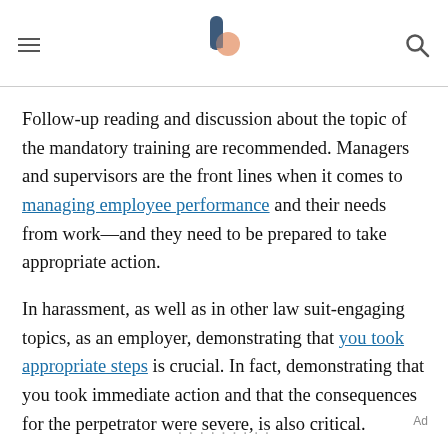Follow-up reading and discussion about the topic of the mandatory training are recommended. Managers and supervisors are the front lines when it comes to managing employee performance and their needs from work—and they need to be prepared to take appropriate action.
In harassment, as well as in other law suit-engaging topics, as an employer, demonstrating that you took appropriate steps is crucial. In fact, demonstrating that you took immediate action and that the consequences for the perpetrator were severe, is also critical.
Ad